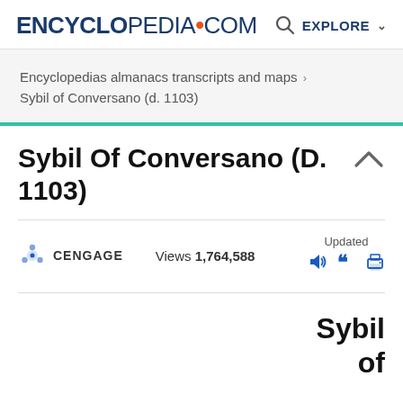ENCYCLopedia•com  🔍 EXPLORE
Encyclopedias almanacs transcripts and maps > Sybil of Conversano (d. 1103)
Sybil Of Conversano (D. 1103)
CENGAGE   Views 1,764,588   Updated
Sybil of